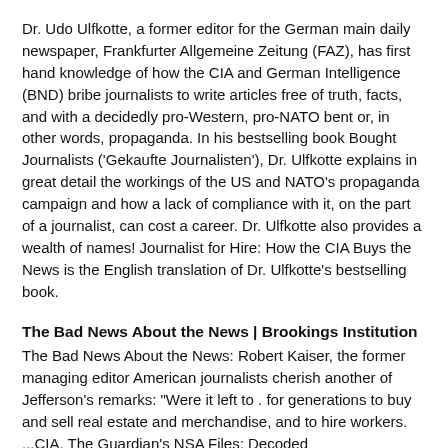Dr. Udo Ulfkotte, a former editor for the German main daily newspaper, Frankfurter Allgemeine Zeitung (FAZ), has first hand knowledge of how the CIA and German Intelligence (BND) bribe journalists to write articles free of truth, facts, and with a decidedly pro-Western, pro-NATO bent or, in other words, propaganda. In his bestselling book Bought Journalists ('Gekaufte Journalisten'), Dr. Ulfkotte explains in great detail the workings of the US and NATO's propaganda campaign and how a lack of compliance with it, on the part of a journalist, can cost a career. Dr. Ulfkotte also provides a wealth of names! Journalist for Hire: How the CIA Buys the News is the English translation of Dr. Ulfkotte's bestselling book.
The Bad News About the News | Brookings Institution
The Bad News About the News: Robert Kaiser, the former managing editor American journalists cherish another of Jefferson's remarks: "Were it left to . for generations to buy and sell real estate and merchandise, and to hire workers. ...CIA. The Guardian's NSA Files: Decoded theguardian.com. click a
Syria's News Smugglers: They go where professional journalists won't
On the Ground With Syria's News Smugglers. Wassim, a journalist